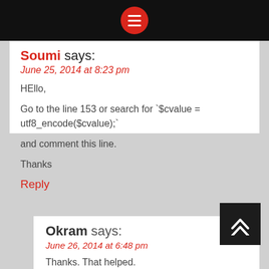[menu button bar]
Soumi says:
June 25, 2014 at 8:23 pm
HEllo,

Go to the line 153 or search for `$cvalue = utf8_encode($cvalue);`

and comment this line.

Thanks
Reply
Okram says:
June 26, 2014 at 6:48 pm
Thanks. That helped.